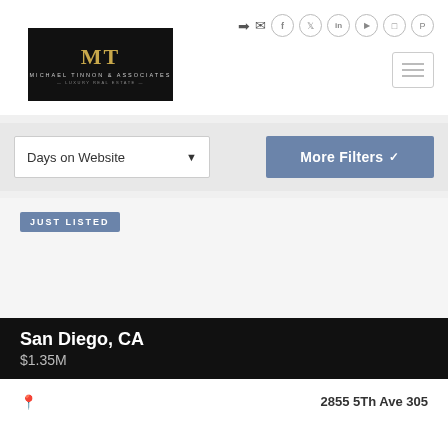[Figure (logo): Michael Tinnon & Associates Luxury Real Estate logo - black background with gold M and white text]
[Figure (other): Social media icons row: login arrow, mail, Facebook, Twitter, LinkedIn, YouTube, Instagram, Pinterest]
[Figure (other): Hamburger menu icon button]
Days on Website
More Filters
JUST LISTED
San Diego, CA
$1.35M
2855 5Th Ave 305